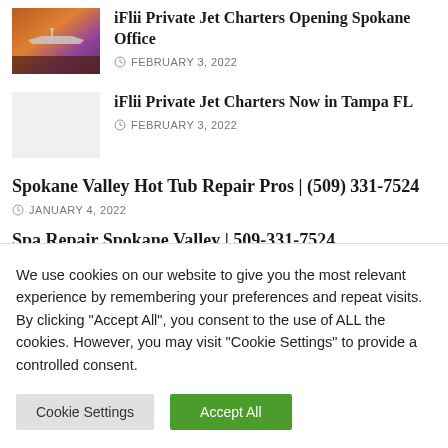iFlii Private Jet Charters Opening Spokane Office
FEBRUARY 3, 2022
[Figure (photo): Thumbnail image of a private jet at sunset with orange and purple sky]
iFlii Private Jet Charters Now in Tampa FL
FEBRUARY 3, 2022
Spokane Valley Hot Tub Repair Pros | (509) 331-7524
JANUARY 4, 2022
Spa Repair Spokane Valley | 509-331-7524
We use cookies on our website to give you the most relevant experience by remembering your preferences and repeat visits. By clicking “Accept All”, you consent to the use of ALL the cookies. However, you may visit "Cookie Settings" to provide a controlled consent.